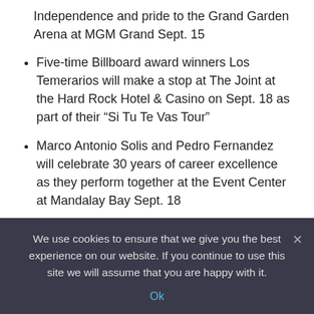Independence and pride to the Grand Garden Arena at MGM Grand Sept. 15
Five-time Billboard award winners Los Temerarios will make a stop at The Joint at the Hard Rock Hotel & Casino on Sept. 18 as part of their “Si Tu Te Vas Tour”
Marco Antonio Solis and Pedro Fernandez will celebrate 30 years of career excellence as they perform together at the Event Center at Mandalay Bay Sept. 18
Rodrigo y Gabriela, the Mexican musical duo famous for their unique rhythmic flamenco guitar playing, are scheduled to perform at The House of Blues at Mandalay Bay Sept. 25
We use cookies to ensure that we give you the best experience on our website. If you continue to use this site we will assume that you are happy with it.
Ok